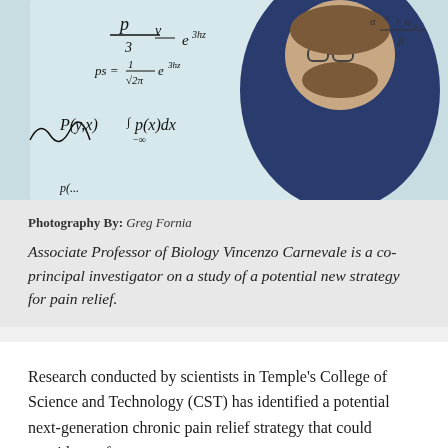[Figure (photo): Photo of Associate Professor of Biology Vincenzo Carnevale standing in front of a whiteboard covered in mathematical equations and formulas, wearing a blue fleece jacket and glasses, smiling.]
Photography By: Greg Fornia
Associate Professor of Biology Vincenzo Carnevale is a co-principal investigator on a study of a potential new strategy for pain relief.
Research conducted by scientists in Temple's College of Science and Technology (CST) has identified a potential next-generation chronic pain relief strategy that could provide a safer